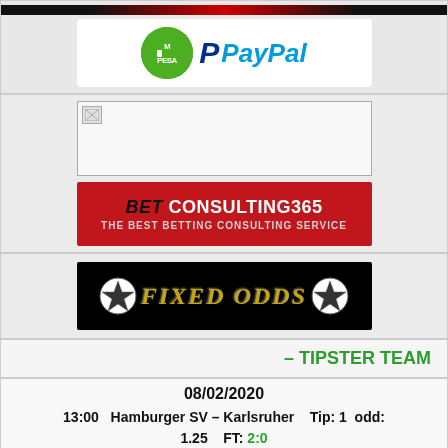[Figure (logo): M-Pesa and PayPal payment logos on white banner with dark top bar]
[Figure (logo): Broken image placeholder above BetConsulting365 red banner reading 'BET CONSULTING365 THE BEST BETTING CONSULTING SERVICE']
[Figure (logo): Fixed Odds banner with soccer balls on black background with gold text]
– TIPSTER TEAM
08/02/2020
13:00   Hamburger SV – Karlsruher   Tip: 1  odd: 1.25   FT: 2:0
16:00   Peterborough Sports – Alvechurch  Tip: Over 2.5   odd: 1.40   FT: 3:0